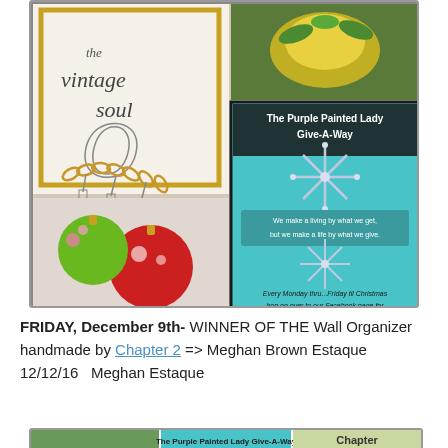[Figure (photo): Collage image showing: top-left vintage soul handwriting with charm bracelet, top-right golden fruit bowl with greenery, bottom-left Christmas ornaments (green and red baubles), right panel teal background with The Purple Painted Lady Give-A-Way snowflake promotion]
FRIDAY, December 9th- WINNER OF THE Wall Organizer handmade by Chapter 2 => Meghan Brown Estaque 12/12/16   Meghan Estaque
[Figure (photo): Bottom collage showing three panels: left green painted wood background, center The Purple Painted Lady Give-A-Way snowflake teal promotion, right Chapter book/birdhouse craft]